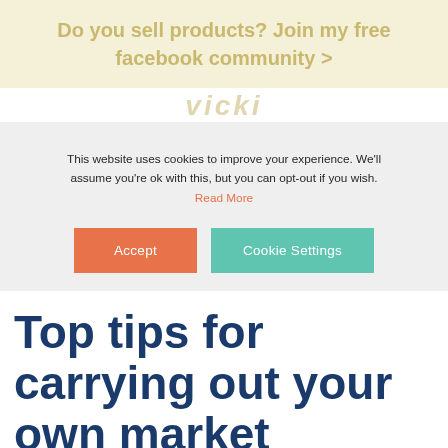Do you sell products? Join my free facebook community >
[Figure (logo): vicki logo text in gold/tan color]
This website uses cookies to improve your experience. We'll assume you're ok with this, but you can opt-out if you wish. Read More
Accept | Cookie Settings
Top tips for carrying out your own market